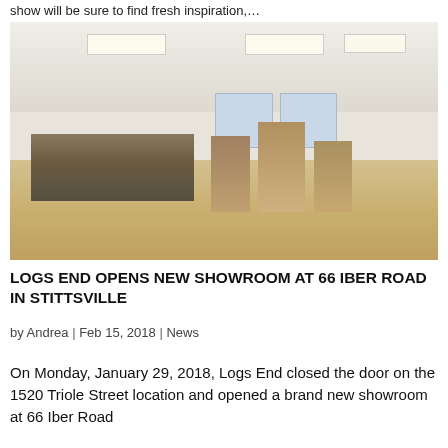show will be sure to find fresh inspiration,…
[Figure (photo): Interior showroom photo showing hardwood floor displays, a barnwood counter, wooden display pillars, windows, and ceiling lights in a bright open space.]
LOGS END OPENS NEW SHOWROOM AT 66 IBER ROAD IN STITTSVILLE
by Andrea | Feb 15, 2018 | News
On Monday, January 29, 2018, Logs End closed the door on the 1520 Triole Street location and opened a brand new showroom at 66 Iber Road